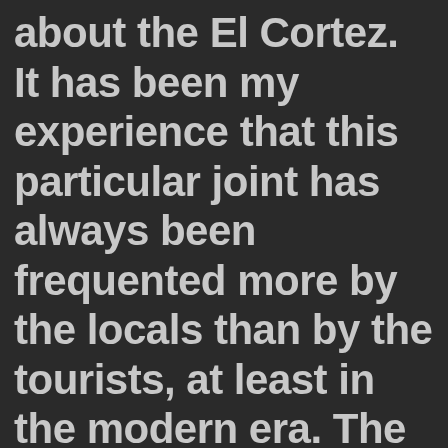Allow me a word or two about the El Cortez. It has been my experience that this particular joint has always been frequented more by the locals than by the tourists, at least in the modern era. The place has a long and rich history. The...